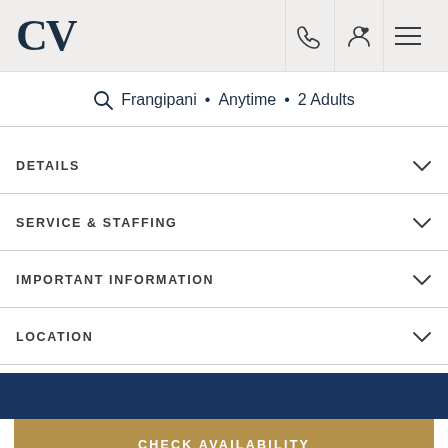CV
Frangipani • Anytime • 2 Adults
DETAILS
SERVICE & STAFFING
IMPORTANT INFORMATION
LOCATION
CHECK AVAILABILITY